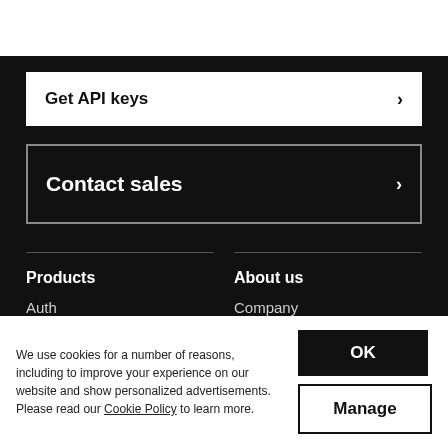Get API keys →
Contact sales →
Products
Auth
Balance
About us
Company
Careers
We use cookies for a number of reasons, including to improve your experience on our website and show personalized advertisements. Please read our Cookie Policy to learn more.